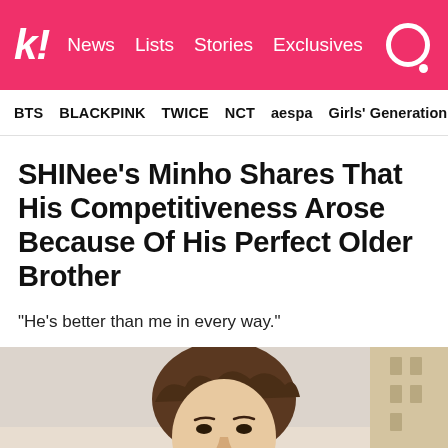k! News Lists Stories Exclusives
BTS  BLACKPINK  TWICE  NCT  aespa  Girls' Generation
SHINee's Minho Shares That His Competitiveness Arose Because Of His Perfect Older Brother
“He’s better than me in every way.”
[Figure (photo): Photo of SHINee's Minho, a young Korean man with wavy brown hair, looking slightly upward, with a blurred outdoor background featuring buildings.]